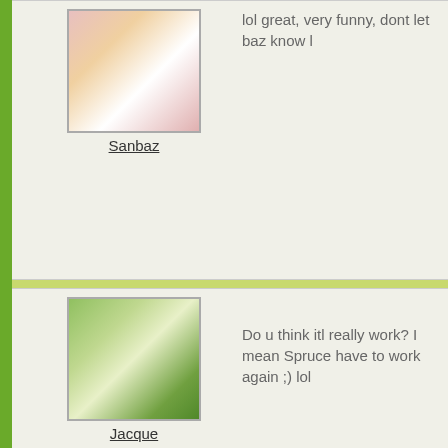[Figure (photo): Avatar photo of user Sanbaz - woman with blonde hair and flowers in background]
Sanbaz
lol great, very funny, dont let baz know l
[Figure (photo): Avatar photo of user Jacque - white cat or animal on grass]
Jacque
Do u think itl really work? I mean Spruce have to work again ;) lol
[Figure (photo): Avatar photo of user Bluespruce - person sitting at table]
Bluespruce
One way to find out Jacque! - can I put y list as well ? :0))
[Figure (photo): Partial avatar photo at bottom - outdoor/nature scene]
Is it me who has to eat it !! Oh well its